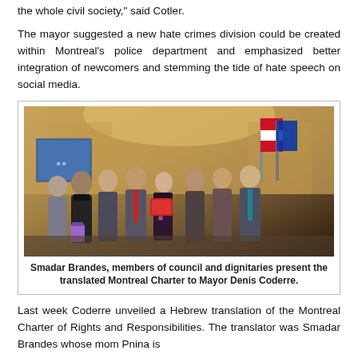the whole civil society," said Cotler.
The mayor suggested a new hate crimes division could be created within Montreal's police department and emphasized better integration of newcomers and stemming the tide of hate speech on social media.
[Figure (photo): Group photo of Smadar Brandes, members of council and dignitaries presenting the translated Montreal Charter to Mayor Denis Coderre in an ornate room with flags.]
Smadar Brandes, members of council and dignitaries present the translated Montreal Charter to Mayor Denis Coderre.
Last week Coderre unveiled a Hebrew translation of the Montreal Charter of Rights and Responsibilities. The translator was Smadar Brandes whose mom Pnina is